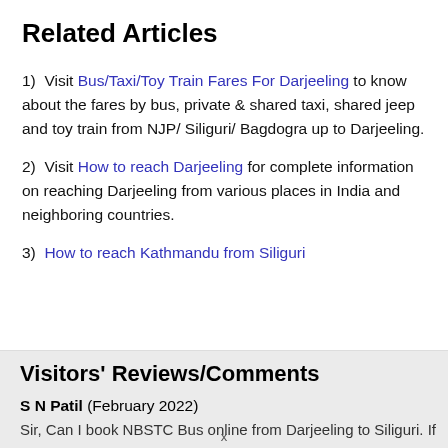Related Articles
1) Visit Bus/Taxi/Toy Train Fares For Darjeeling to know about the fares by bus, private & shared taxi, shared jeep and toy train from NJP/ Siliguri/ Bagdogra up to Darjeeling.
2) Visit How to reach Darjeeling for complete information on reaching Darjeeling from various places in India and neighboring countries.
3) How to reach Kathmandu from Siliguri
Visitors' Reviews/Comments
S N Patil (February 2022)
Sir, Can I book NBSTC Bus online from Darjeeling to Siliguri. If...